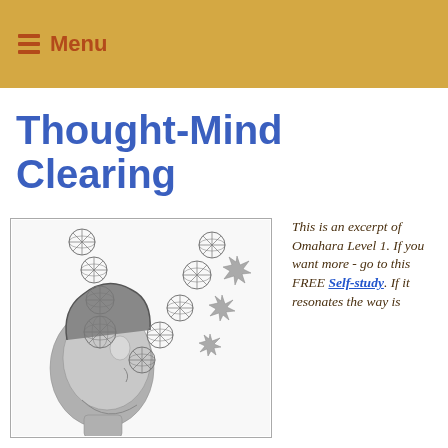Menu
Thought-Mind Clearing
[Figure (illustration): Illustration of a human head in profile with geodesic sphere shapes floating out of the head, forming two ascending chains, with starburst explosion shapes nearby.]
This is an excerpt of Omahara Level 1. If you want more - go to this FREE Self-study. If it resonates the way is